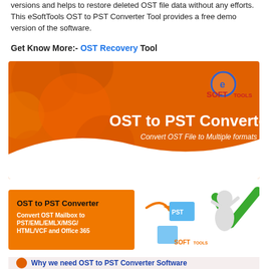versions and helps to restore deleted OST file data without any efforts. This eSoftTools OST to PST Converter Tool provides a free demo version of the software.
Get Know More:- OST Recovery Tool
[Figure (illustration): OST to PST Converter promotional banner with orange bubble background. Shows 'OST to PST Converter' in white text and subtitle 'Convert OST File to Multiple formats'. eSoftTools logo in top right corner.]
[Figure (infographic): Promotional infographic showing OST to PST Converter product details. Orange box on left with text 'OST to PST Converter' and 'Convert OST Mailbox to PST/EML/EMLX/MSG/HTML/VCF and Office 365'. Center shows PST file icon with arrow. Right shows a 3D figure with a green checkmark. eSoftTools logo at bottom.]
[Figure (illustration): Bottom partial section with light orange/beige background, orange circle bullet, and bold blue text 'Why we need OST to PST Converter Software']